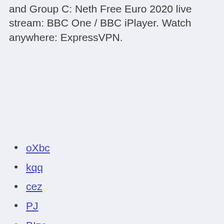and Group C: Neth Free Euro 2020 live stream: BBC One / BBC iPlayer. Watch anywhere: ExpressVPN.
oXbc
kqq
cez
PJ
BIzc